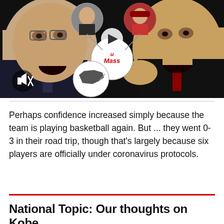[Figure (photo): A composite sports image showing two basketball coaches facing each other, shouting, with circular graphic overlays between them showing photos of other coaches, a UMass logo, and a Kentucky state outline. A mute icon appears in the lower left corner.]
Perhaps confidence increased simply because the team is playing basketball again. But ... they went 0-3 in their road trip, though that's largely because six players are officially under coronavirus protocols.
National Topic: Our thoughts on Kobe